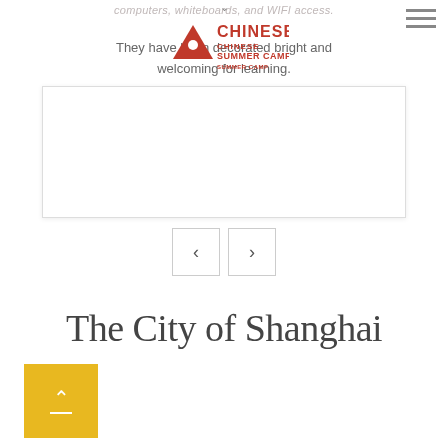computers, whiteboards, and WIFI access.
They have been decorated bright and welcoming for learning.
[Figure (screenshot): White card/box element in the middle of page]
[Figure (logo): Chinese Summer Camp logo with tent icon in red]
[Figure (other): Navigation previous/next arrow buttons]
The City of Shanghai
[Figure (other): Yellow scroll-to-top button with up arrow]